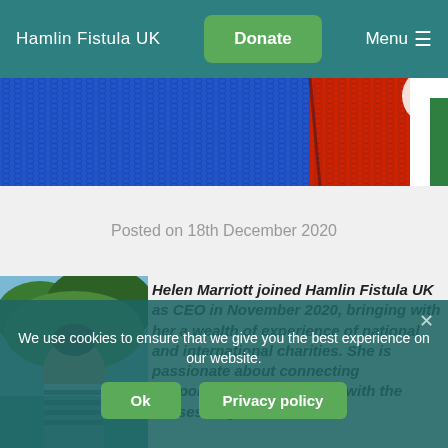Hamlin Fistula UK | Donate | Menu
[Figure (photo): Close-up photo of knitted fabric in blue and red colours with white element visible]
Posted on 18th December 2020
[Figure (photo): Photo of Helen Marriott outdoors, partially visible]
Helen Marriott joined Hamlin Fistula UK as CEO in November 2020, bringing with her a wealth of experience of national and international charities. She is passionate about connecting supporters and volunteers with the causes they care about.
We use cookies to ensure that we give you the best experience on our website.
Ok | Privacy policy